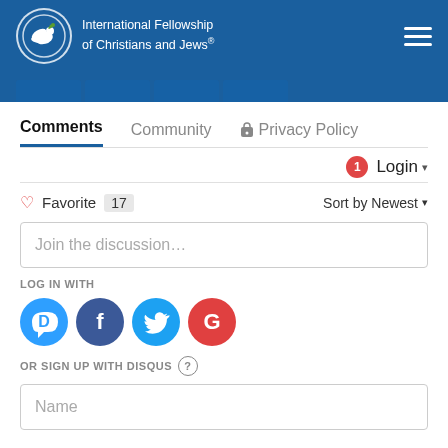[Figure (logo): International Fellowship of Christians and Jews logo with dove and olive branch in white circle, white text on blue header background, hamburger menu icon top right]
[Figure (screenshot): Blue navigation tab strip with 4 dark blue rounded tab buttons]
Comments   Community   Privacy Policy
Login ▾
♡ Favorite  17   Sort by Newest ▾
Join the discussion…
LOG IN WITH
[Figure (logo): Social login icons: Disqus (blue speech bubble with D), Facebook (dark blue circle with f), Twitter (light blue circle with bird), Google (red circle with G)]
OR SIGN UP WITH DISQUS ?
Name